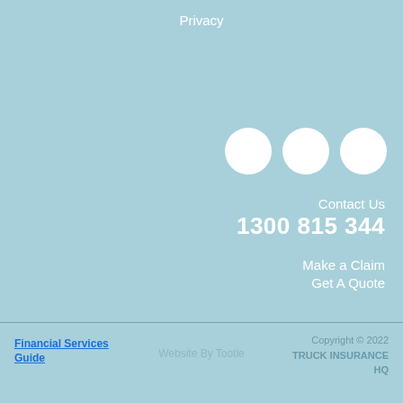Privacy
[Figure (illustration): Three white circular social media icon placeholders arranged horizontally on light blue background]
Contact Us
1300 815 344
Make a Claim
Get A Quote
Financial Services Guide
Website By Tootle
Copyright © 2022 TRUCK INSURANCE HQ